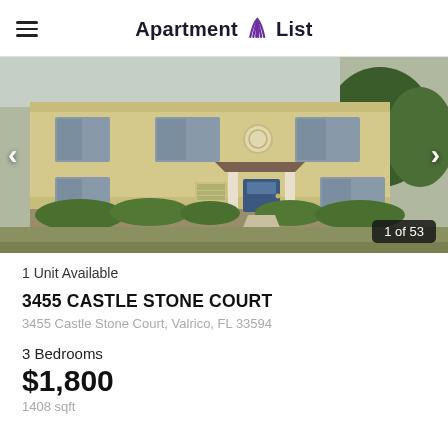Apartment List
[Figure (photo): Exterior photo of a two-story yellow/tan apartment building with blue front door, white columns, decorative circular medallion, landscaped bushes in front, trees on right side. Navigation arrows on left and right sides. Counter shows 1 of 53.]
1 Unit Available
3455 CASTLE STONE COURT
3455 Castle Stone Court, Valrico, FL 33594
3 Bedrooms
$1,800
1408 sqft